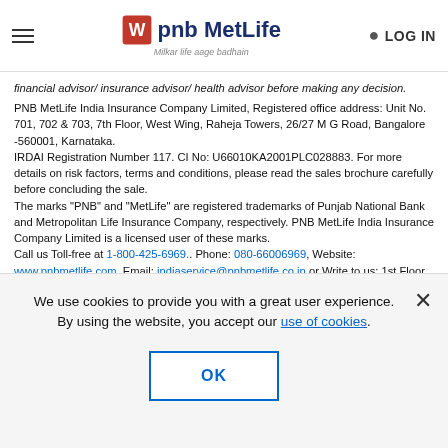PNB MetLife - Menu, Logo, LOG IN
financial advisor/ insurance advisor/ health advisor before making any decision. PNB MetLife India Insurance Company Limited, Registered office address: Unit No. 701, 702 & 703, 7th Floor, West Wing, Raheja Towers, 26/27 M G Road, Bangalore -560001, Karnataka. IRDAI Registration Number 117. CI No: U66010KA2001PLC028883. For more details on risk factors, terms and conditions, please read the sales brochure carefully before concluding the sale. The marks "PNB" and "MetLife" are registered trademarks of Punjab National Bank and Metropolitan Life Insurance Company, respectively. PNB MetLife India Insurance Company Limited is a licensed user of these marks. Call us Toll-free at 1-800-425-6969.. Phone: 080-66006969, Website: www.pnbmetlife.com, Email: indiaservice@pnbmetlife.co.in or Write to us: 1st Floor, Techniplex -1, Techniplex Complex, Off Veer Savarkar Flyover, Goregaon (West), Mumbai – 400062, Maharashtra. Phone: +91-22-41790000, Fax: +91-22-41790203 AD-F/2019-20/00301
We use cookies to provide you with a great user experience. By using the website, you accept our use of cookies.
OK